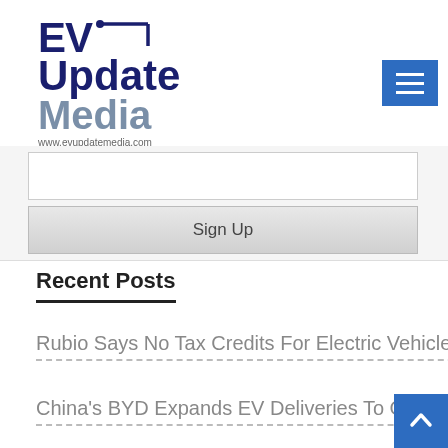[Figure (logo): EV Update Media logo with charging cable icon and website URL www.evupdatemedia.com]
[Figure (other): Blue hamburger menu button with three white horizontal lines]
[Figure (other): Email sign-up form with input field and Sign Up button]
Recent Posts
Rubio Says No Tax Credits For Electric Vehicles With Chinese Parts
China's BYD Expands EV Deliveries To Germany And Sweden
[Figure (other): Blue back-to-top button with upward chevron arrow]